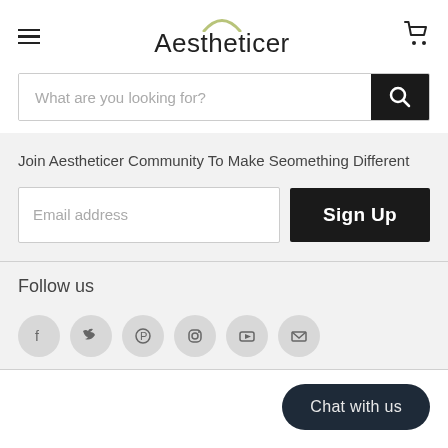Aestheticer
What are you looking for?
Join Aestheticer Community To Make Seomething Different
Email address
Sign Up
Follow us
[Figure (infographic): Row of 6 social media icons in grey circles: Facebook, Twitter, Pinterest, Instagram, YouTube, Email]
Chat with us